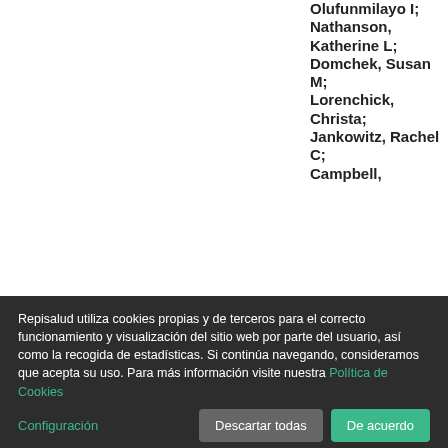Olufunmilayo I; Nathanson, Katherine L; Domchek, Susan M; Lorenchick, Christa; Jankowitz, Rachel C; Campbell,
Repisalud utiliza cookies propias y de terceros para el correcto funcionamiento y visualización del sitio web por parte del usuario, así como la recogida de estadísticas. Si continúa navegando, consideramos que acepta su uso. Para más información visite nuestra Política de Cookies
Configuración
Descartar todas
De acuerdo